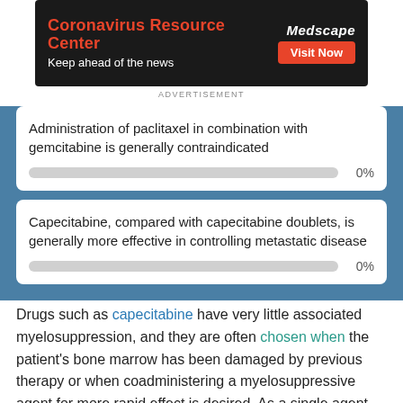[Figure (screenshot): Medscape Coronavirus Resource Center advertisement banner with red title, white subtitle, Medscape logo and Visit Now button]
ADVERTISEMENT
Administration of paclitaxel in combination with gemcitabine is generally contraindicated
0%
Capecitabine, compared with capecitabine doublets, is generally more effective in controlling metastatic disease
0%
Drugs such as capecitabine have very little associated myelosuppression, and they are often chosen when the patient's bone marrow has been damaged by previous therapy or when coadministering a myelosuppressive agent for more rapid effect is desired. As a single agent, capecitabine has an overall response rate (ORR) of